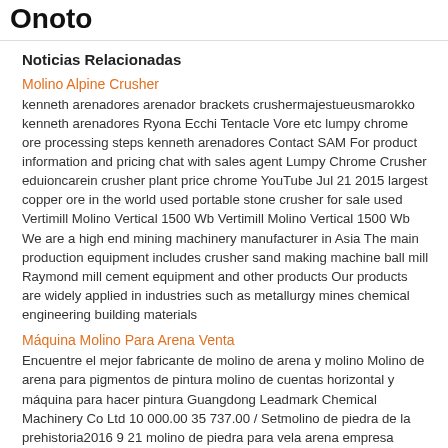Onoto
Noticias Relacionadas
Molino Alpine Crusher
kenneth arenadores arenador brackets crushermajestueusmarokko kenneth arenadores Ryona Ecchi Tentacle Vore etc lumpy chrome ore processing steps kenneth arenadores Contact SAM For product information and pricing chat with sales agent Lumpy Chrome Crusher eduioncarein crusher plant price chrome YouTube Jul 21 2015 largest copper ore in the world used portable stone crusher for sale used Vertimill Molino Vertical 1500 Wb Vertimill Molino Vertical 1500 Wb We are a high end mining machinery manufacturer in Asia The main production equipment includes crusher sand making machine ball mill Raymond mill cement equipment and other products Our products are widely applied in industries such as metallurgy mines chemical engineering building materials
Máquina Molino Para Arena Venta
Encuentre el mejor fabricante de molino de arena y molino Molino de arena para pigmentos de pintura molino de cuentas horizontal y máquina para hacer pintura Guangdong Leadmark Chemical Machinery Co Ltd 10 000.00 35 737.00 / Setmolino de piedra de la prehistoria2016 9 21 molino de piedra para vela arena empresa trituradora en Tamil Nadu separador de arena en Tamil Nadu para la venta separadores ciclonicos densidad